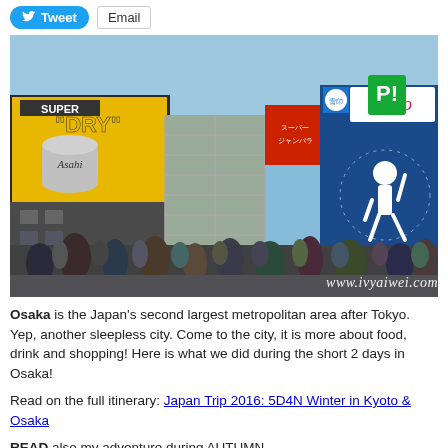[Figure (other): Social sharing buttons: Twitter Tweet button (blue rounded) and Email button (outlined)]
[Figure (photo): Street-level photo of Osaka's Dotonbori district showing large advertising billboards including Asahi Super Dry beer and Glico running man sign, crowded with people. Watermark reads www.ivyaiwei.com]
Osaka is the Japan's second largest metropolitan area after Tokyo. Yep, another sleepless city. Come to the city, it is more about food, drink and shopping! Here is what we did during the short 2 days in Osaka!
Read on the full itinerary: Japan Trip 2016: 5D4N Winter in Kyoto & Osaka
READ also my adventure during AUTUMN